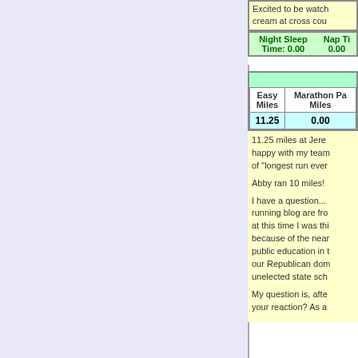Excited to be watch... cream at cross cou...
| Night Sleep Time: | Nap Ti... 0.00 |
| --- | --- |
| 0.00 | 0.00 |
| Easy Miles | Marathon Pa... Miles |
| --- | --- |
| 11.25 | 0.00 |
11.25 miles at Jere... happy with my team... of "longest run ever...

Abby ran 10 miles!

I have a question... running blog are fro... at this time I was thi... because of the near... public education in t... our Republican dom... unelected state sch...

My question is, afte... your reaction? As a...